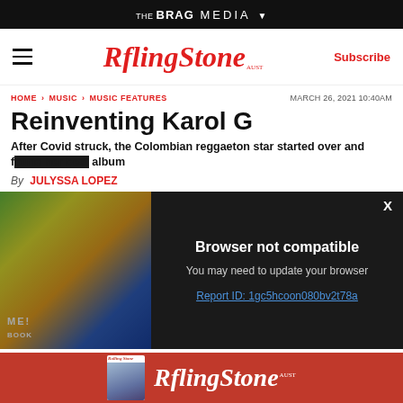THE BRAG MEDIA ▼
[Figure (logo): Rolling Stone Australia logo in red italic serif font with navigation hamburger menu on left and Subscribe button on right]
HOME > MUSIC > MUSIC FEATURES    MARCH 26, 2021 10:40AM
Reinventing Karol G
After Covid struck, the Colombian reggaeton star started over and found her best album
By JULYSSA LOPEZ
[Figure (photo): Partial view of colorful album artwork image on the left side, overlaid by a dark modal dialog box reading: Browser not compatible. You may need to update your browser. Report ID: 1gc5hcoon080bv2t78a]
[Figure (logo): Rolling Stone advertisement banner in red with magazine thumbnail and white Rolling Stone AUST logo text]